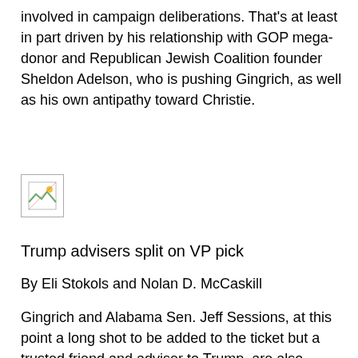involved in campaign deliberations. That's at least in part driven by his relationship with GOP mega-donor and Republican Jewish Coalition founder Sheldon Adelson, who is pushing Gingrich, as well as his own antipathy toward Christie.
[Figure (other): Broken/missing image placeholder]
Trump advisers split on VP pick
By Eli Stokols and Nolan D. McCaskill
Gingrich and Alabama Sen. Jeff Sessions, at this point a long shot to be added to the ticket but a trusted friend and adviser to Trump, are also meeting with Trump in Indiana on Wednesday. Trump himself was also expected to speak with Christie by phone Wednesday.
On a phone call with Manafort on Tuesday, pollster Tony Fabrizio, armed with new data showing Trump and Hillary